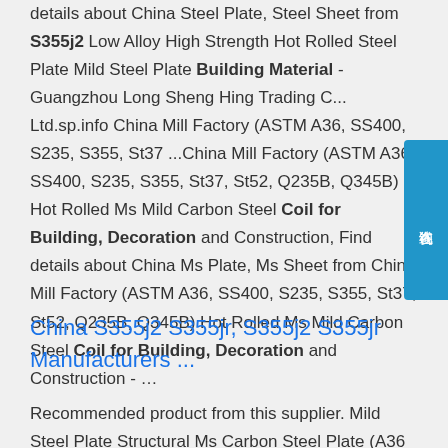details about China Steel Plate, Steel Sheet from S355j2 Low Alloy High Strength Hot Rolled Steel Plate Mild Steel Plate Building Material - Guangzhou Long Sheng Hing Trading C... Ltd.sp.info China Mill Factory (ASTM A36, SS400, S235, S355, St37 ...China Mill Factory (ASTM A36, SS400, S235, S355, St37, St52, Q235B, Q345B) Hot Rolled Ms Mild Carbon Steel Coil for Building, Decoration and Construction, Find details about China Ms Plate, Ms Sheet from China Mill Factory (ASTM A36, SS400, S235, S355, St37, St52, Q235B, Q345B) Hot Rolled Ms Mild Carbon Steel Coil for Building, Decoration and Construction - ...
[Figure (other): Blue chat button with Chinese text '在线咨询' (Online Consultation)]
China S355j2 S355jr, S355j2 S355jr Manufacturers ...
Recommended product from this supplier. Mild Steel Plate Structural Ms Carbon Steel Plate (A36 Q235 Q345 S275JR